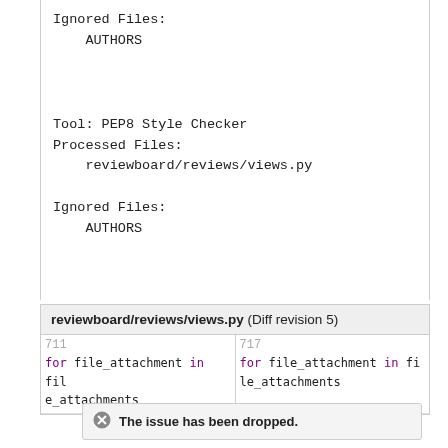Ignored Files:
    AUTHORS

Tool: PEP8 Style Checker
Processed Files:
    reviewboard/reviews/views.py

Ignored Files:
    AUTHORS
reviewboard/reviews/views.py (Diff revision 5)
| 711 | 717 |
| --- | --- |
| for file_attachment in file_attachments | for file_attachment in file_attachments |
The issue has been dropped.